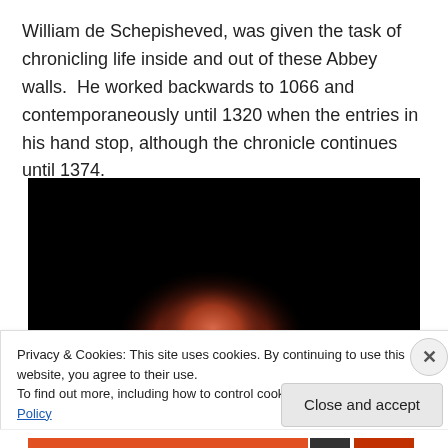William de Schepisheved, was given the task of chronicling life inside and out of these Abbey walls.  He worked backwards to 1066 and contemporaneously until 1320 when the entries in his hand stop, although the chronicle continues until 1374.
[Figure (photo): Dark photograph showing a reddish-brown glowing orb (appears to be a lunar eclipse or moon) against a completely black background.]
Privacy & Cookies: This site uses cookies. By continuing to use this website, you agree to their use.
To find out more, including how to control cookies, see here: Cookie Policy